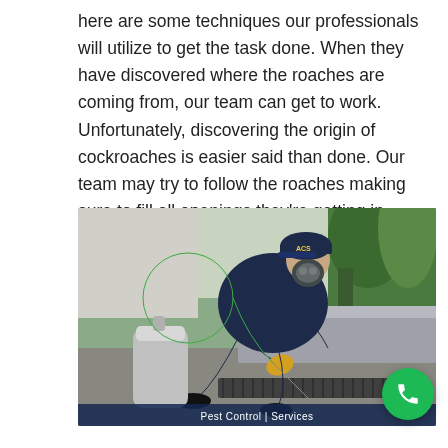here are some techniques our professionals will utilize to get the task done. When they have discovered where the roaches are coming from, our team can get to work. Unfortunately, discovering the origin of cockroaches is easier said than done. Our team may try to follow the roaches making sure to fill all openings they're getting in through. Given that cockroaches frequently enter houses through drains, pipes, or vents, it's difficult to close all the entry points so it may take some time.
[Figure (photo): A pest control professional in a dark blue uniform and cap, wearing a gas mask and yellow gloves, crouching down near a floor drain/gutter using a sprayer tank with a green hose to apply treatment. A green phone button is overlaid in the bottom right corner.]
Pest Control | Services